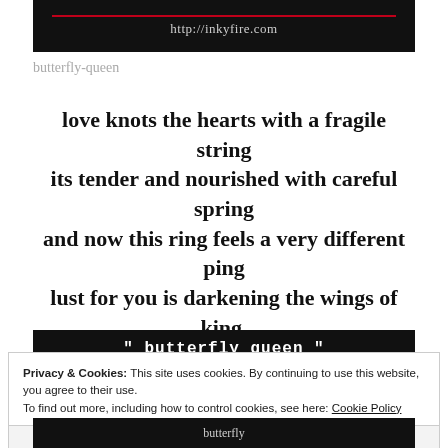http://inkyfire.com
butterfly-queen
love knots the hearts with a fragile string
its tender and nourished with careful spring
and now this ring feels a very different ping
lust for you is darkening the wings of king.
[Figure (other): Black banner with white bold text: " butterfly queen " and a red horizontal line below]
Privacy & Cookies: This site uses cookies. By continuing to use this website, you agree to their use.
To find out more, including how to control cookies, see here: Cookie Policy
Close and accept
[Figure (other): Partial black banner at bottom showing text 'butterfly']